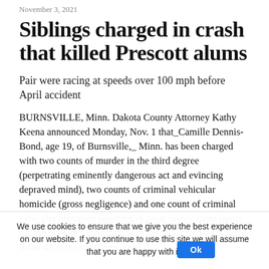November 3, 2021
Siblings charged in crash that killed Prescott alums
Pair were racing at speeds over 100 mph before April accident
BURNSVILLE, Minn. Dakota County Attorney Kathy Keena announced Monday, Nov. 1 that Camille Dennis- Bond, age 19, of Burnsville, Minn. has been charged with two counts of murder in the third degree (perpetrating eminently dangerous act and evincing depraved mind), two counts of criminal vehicular homicide (gross negligence) and one count of criminal vehicular operation resulting in great bodily harm (gross negligence), in connection with the fatal crash on County Road 42 in Burnsville on April 4
We use cookies to ensure that we give you the best experience on our website. If you continue to use this site we will assume that you are happy with it.